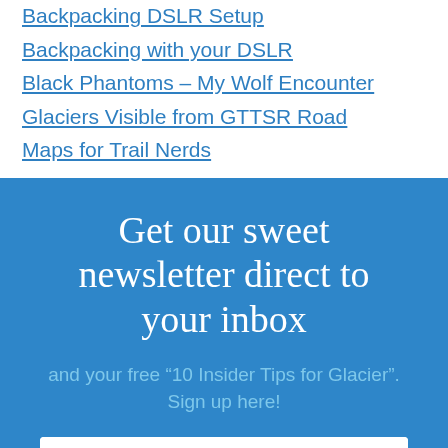Backpacking DSLR Setup
Backpacking with your DSLR
Black Phantoms – My Wolf Encounter
Glaciers Visible from GTTSR Road
Maps for Trail Nerds
Get our sweet newsletter direct to your inbox
and your free “10 Insider Tips for Glacier”. Sign up here!
First name